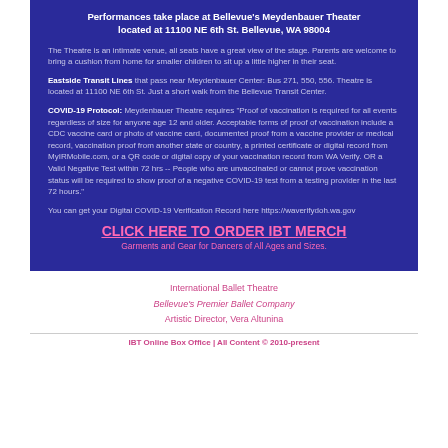Performances take place at Bellevue's Meydenbauer Theater located at 11100 NE 6th St. Bellevue, WA 98004
The Theatre is an intimate venue, all seats have a great view of the stage. Parents are welcome to bring a cushion from home for smaller children to sit up a little higher in their seat.
Eastside Transit Lines that pass near Meydenbauer Center: Bus 271, 550, 556. Theatre is located at 11100 NE 6th St. Just a short walk from the Bellevue Transit Center.
COVID-19 Protocol: Meydenbauer Theatre requires "Proof of vaccination is required for all events regardless of size for anyone age 12 and older. Acceptable forms of proof of vaccination include a CDC vaccine card or photo of vaccine card, documented proof from a vaccine provider or medical record, vaccination proof from another state or country, a printed certificate or digital record from MyIRMobile.com, or a QR code or digital copy of your vaccination record from WA Verify. OR a Valid Negative Test within 72 hrs -- People who are unvaccinated or cannot prove vaccination status will be required to show proof of a negative COVID-19 test from a testing provider in the last 72 hours."
You can get your Digital COVID-19 Verification Record here https://waverifydoh.wa.gov
CLICK HERE TO ORDER IBT MERCH
Garments and Gear for Dancers of All Ages and Sizes.
International Ballet Theatre
Bellevue's Premier Ballet Company
Artistic Director, Vera Altunina
IBT Online Box Office | All Content © 2010-present